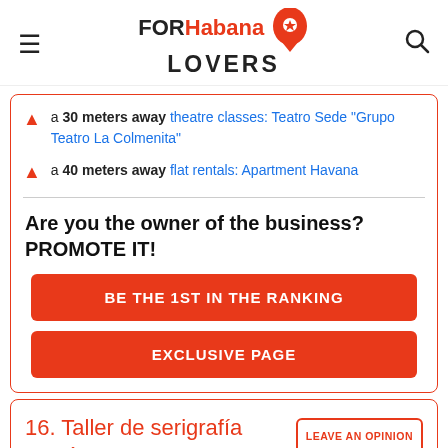FOR Habana LOVERS
a 30 meters away theatre classes: Teatro Sede "Grupo Teatro La Colmenita"
a 40 meters away flat rentals: Apartment Havana
Are you the owner of the business? PROMOTE IT!
BE THE 1ST IN THE RANKING
EXCLUSIVE PAGE
16. Taller de serigrafía René Portocarrero
LEAVE AN OPINION